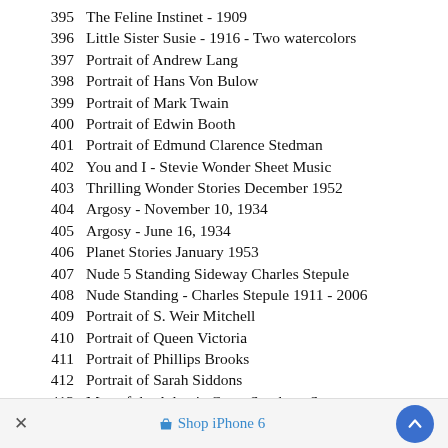395  The Feline Instinet - 1909
396  Little Sister Susie - 1916 - Two watercolors
397  Portrait of Andrew Lang
398  Portrait of Hans Von Bulow
399  Portrait of Mark Twain
400  Portrait of Edwin Booth
401  Portrait of Edmund Clarence Stedman
402  You and I - Stevie Wonder Sheet Music
403  Thrilling Wonder Stories December 1952
404  Argosy - November 10, 1934
405  Argosy - June 16, 1934
406  Planet Stories January 1953
407  Nude 5 Standing Sideway Charles Stepule
408  Nude Standing - Charles Stepule 1911 - 2006
409  Portrait of S. Weir Mitchell
410  Portrait of Queen Victoria
411  Portrait of Phillips Brooks
412  Portrait of Sarah Siddons
413  Map of the Atlantic Coast Southern Stat...
× Shop iPhone 6 ^